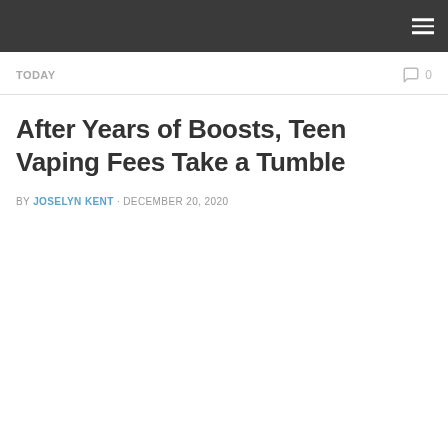TODAY   0
After Years of Boosts, Teen Vaping Fees Take a Tumble
BY JOSELYN KENT · DECEMBER 20, 2020